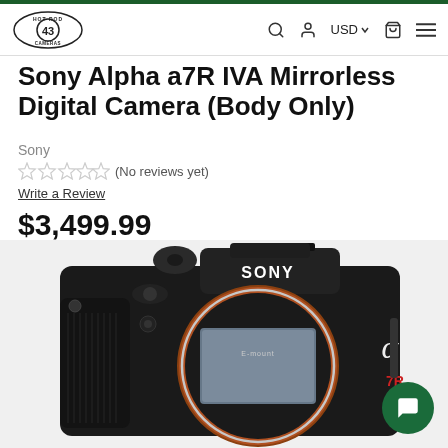Hot Rod Cameras — USD — navigation bar
Sony Alpha a7R IVA Mirrorless Digital Camera (Body Only)
Sony
(No reviews yet)
Write a Review
$3,499.99
[Figure (photo): Front view of Sony Alpha a7R IVA mirrorless digital camera body showing E-mount lens ring, sensor, SONY branding, and alpha 7R markings on a light gray background]